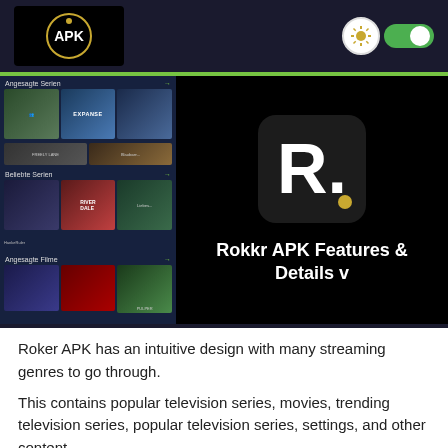APK logo and toggle switch header
[Figure (screenshot): Rokkr APK app screenshot showing streaming categories: Angesagte Serien, Beliebte Serien, Angesagte Filme with movie/series thumbnails including The Expanse, Freely Lane, Riverdale]
Rokkr APK Features & Details v
Roker APK has an intuitive design with many streaming genres to go through.
This contains popular television series, movies, trending television series, popular television series, settings, and other content.